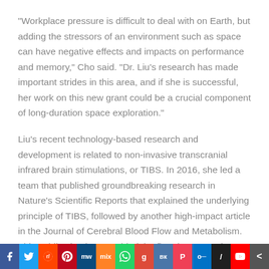"Workplace pressure is difficult to deal with on Earth, but adding the stressors of an environment such as space can have negative effects and impacts on performance and memory," Cho said. "Dr. Liu's research has made important strides in this area, and if she is successful, her work on this new grant could be a crucial component of long-duration space exploration."
Liu's recent technology-based research and development is related to non-invasive transcranial infrared brain stimulations, or TIBS. In 2016, she led a team that published groundbreaking research in Nature's Scientific Reports that explained the underlying principle of TIBS, followed by another high-impact article in the Journal of Cerebral Blood Flow and Metabolism. This publication has provided the first demonstration that TIBS can significantly improve metabolic activity, blood flow and blood oxygenation in the human...